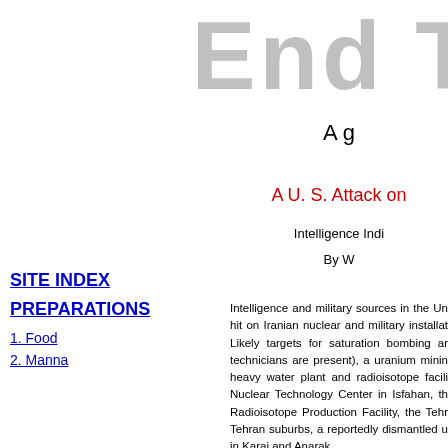End T
A g
A U. S. Attack on
Intelligence Indi
By W
Intelligence and military sources in the Un hit on Iranian nuclear and military installat Likely targets for saturation bombing ar technicians are present), a uranium minin heavy water plant and radioisotope facili Nuclear Technology Center in Isfahan, th Radioisotope Production Facility, the Tehr Tehran suburbs, a reportedly dismantled u in Karaj and Anarak.
SITE INDEX
PREPARATIONS
1. Food
2. Manna